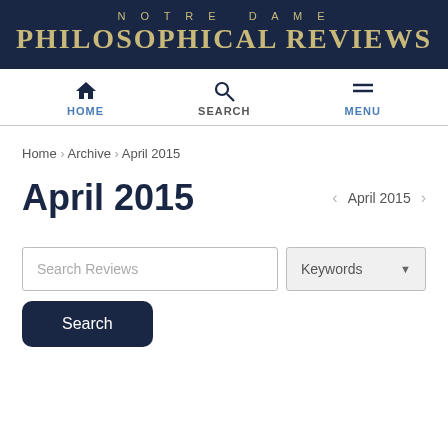NOTRE DAME PHILOSOPHICAL REVIEWS
HOME | SEARCH | MENU
Home › Archive › April 2015
April 2015
‹ April 2015 ›
Search Reviews
Keywords
Search